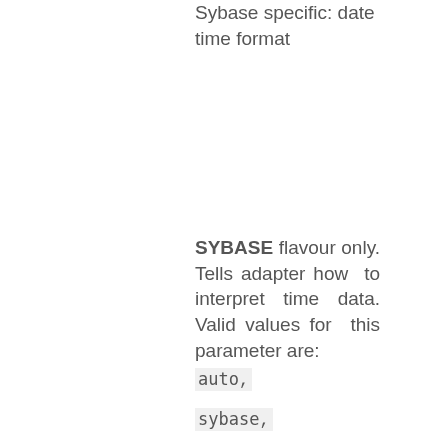Sybase specific: date time format
SYBASE flavour only. Tells adapter how to interpret time data. Valid values for this parameter are:
auto,
sybase,